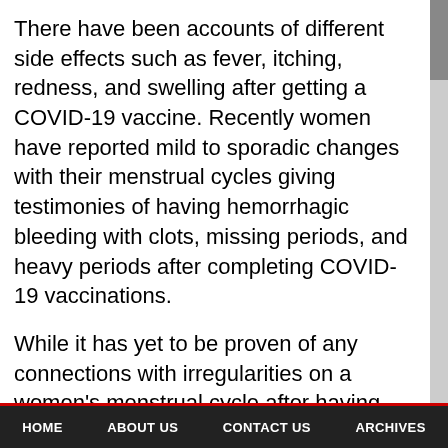There have been accounts of different side effects such as fever, itching, redness, and swelling after getting a COVID-19 vaccine. Recently women have reported mild to sporadic changes with their menstrual cycles giving testimonies of having hemorrhagic bleeding with clots, missing periods, and heavy periods after completing COVID-19 vaccinations.
While it has yet to be proven of any connections with irregularities on a women's menstrual cycle after having vaccinated, Alice Lu-Culligan, an M.D. and Ph.D. student at Yale School of Medicine, and Dr. Randi Epstein, a writer in
HOME   ABOUT US   CONTACT US   ARCHIVES